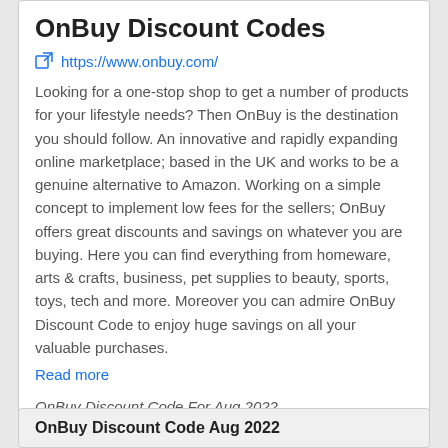OnBuy Discount Codes
https://www.onbuy.com/
Looking for a one-stop shop to get a number of products for your lifestyle needs? Then OnBuy is the destination you should follow. An innovative and rapidly expanding online marketplace; based in the UK and works to be a genuine alternative to Amazon. Working on a simple concept to implement low fees for the sellers; OnBuy offers great discounts and savings on whatever you are buying. Here you can find everything from homeware, arts & crafts, business, pet supplies to beauty, sports, toys, tech and more. Moreover you can admire OnBuy Discount Code to enjoy huge savings on all your valuable purchases.
Read more
OnBuy Discount Code For Aug 2022
OnBuy Discount Code Aug 2022